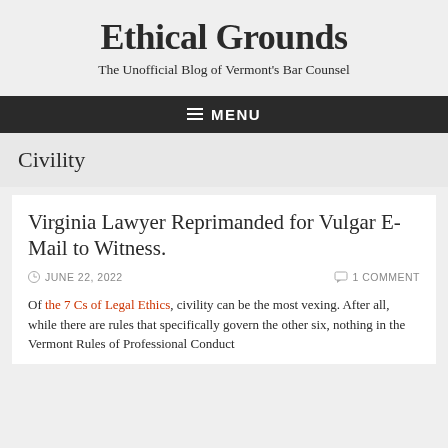Ethical Grounds
The Unofficial Blog of Vermont's Bar Counsel
☰ MENU
Civility
Virginia Lawyer Reprimanded for Vulgar E-Mail to Witness.
JUNE 22, 2022   1 COMMENT
Of the 7 Cs of Legal Ethics, civility can be the most vexing. After all, while there are rules that specifically govern the other six, nothing in the Vermont Rules of Professional Conduct